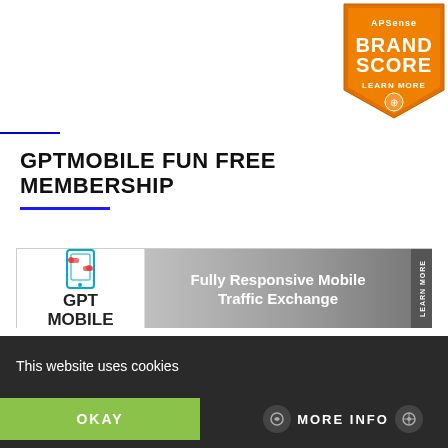[Figure (logo): APSense Brand Score badge - orange pentagon/shield shape with text 'APSense BRAND SCORE LEARN MORE']
GPTMOBILE FUN FREE MEMBERSHIP
[Figure (illustration): GPT Mobile banner ad showing logo on left with smartphone icon and text 'GPT MOBILE', center shows 'Fully Responsive Mobile Traffic Exchange' on grey gradient background, right side has dark strip with 'LEARN MORE' text rotated vertically]
This website uses cookies
OKAY
MORE INFO